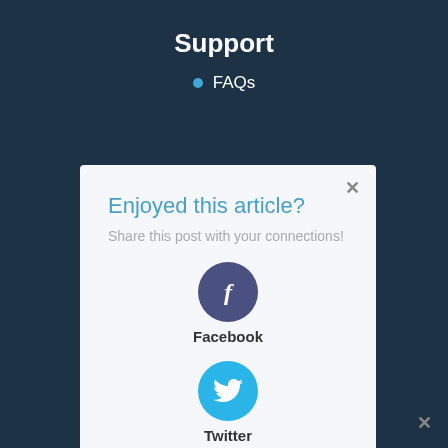Support
FAQs
Enjoyed this article?
Share this post with your connections!
[Figure (infographic): Three social media share buttons: Facebook (dark blue-purple circle with 'f'), Twitter (light blue circle with bird icon), LinkedIn (medium blue circle with 'in'). Each circle has a label below it.]